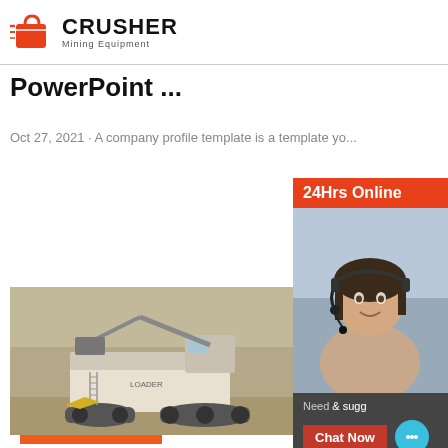[Figure (logo): Crusher Mining Equipment logo with red shopping bag icon and bold CRUSHER text]
PowerPoint ...
Oct 27, 2021 · A company profile template is a template yo...
[Figure (other): Orange Read More button]
[Figure (photo): Mining crusher machine at a quarry site]
8+ Business Profile Template Word, PDF ...
[Figure (other): Right side panel with '24Hrs Online' header, photo of woman with headset, Need & suggestions chat area, Chat Now button, Enquiry bar, and limingjlmofen@sina.com email]